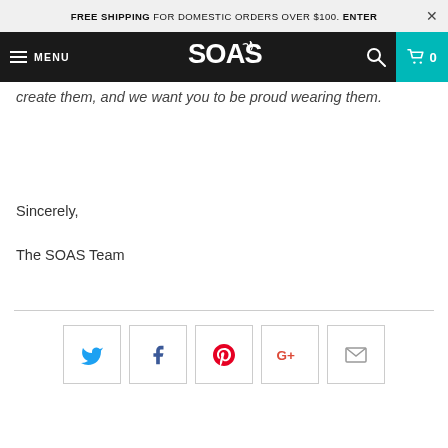FREE SHIPPING FOR DOMESTIC ORDERS OVER $100. ENTER ×
MENU | SOAS | 0
create them, and we want you to be proud wearing them.
Sincerely,

The SOAS Team
[Figure (other): Social sharing icons row: Twitter (blue bird), Facebook (blue f), Pinterest (red P), Google+ (red G+), Email (grey envelope)]